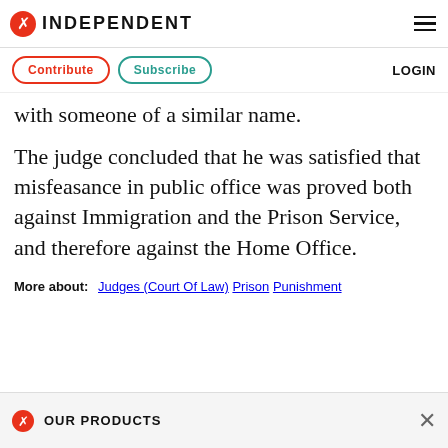INDEPENDENT
Contribute  Subscribe  LOGIN
with someone of a similar name.
The judge concluded that he was satisfied that misfeasance in public office was proved both against Immigration and the Prison Service, and therefore against the Home Office.
More about: Judges (Court Of Law)  Prison  Punishment
OUR PRODUCTS